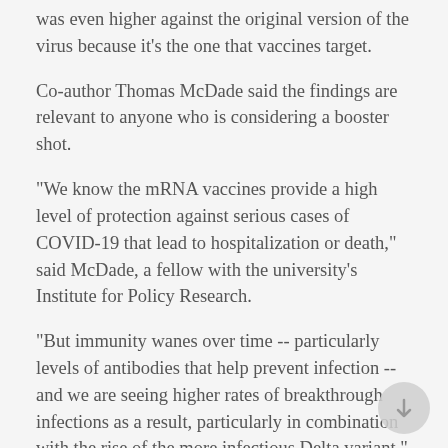was even higher against the original version of the virus because it's the one that vaccines target.
Co-author Thomas McDade said the findings are relevant to anyone who is considering a booster shot.
"We know the mRNA vaccines provide a high level of protection against serious cases of COVID-19 that lead to hospitalization or death," said McDade, a fellow with the university's Institute for Policy Research.
"But immunity wanes over time -- particularly levels of antibodies that help prevent infection -- and we are seeing higher rates of breakthrough infections as a result, particularly in combination with the rise of the more infectious Delta variant," he said in the release.
Demonbreun said researchers think the robust effect of booster shots observed in this small group will be